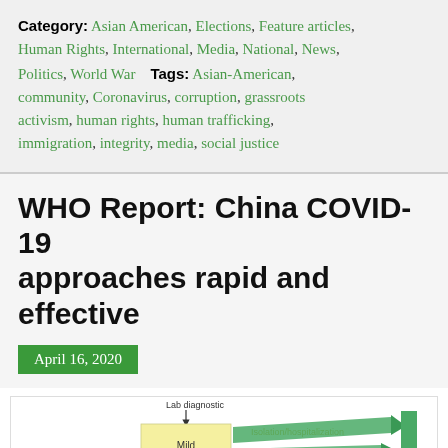Category: Asian American, Elections, Feature articles, Human Rights, International, Media, National, News, Politics, World War   Tags: Asian-American, community, Coronavirus, corruption, grassroots activism, human rights, human trafficking, immigration, integrity, media, social justice
WHO Report: China COVID-19 approaches rapid and effective
April 16, 2020
[Figure (schematic): Flow diagram showing COVID-19 patient pathway: Lab diagnostic arrow pointing down to boxes labeled Mild and Moderate, with green flow arrows indicating Isolation/hospitalization leading to Recovery, and a red curve line showing disease progression.]